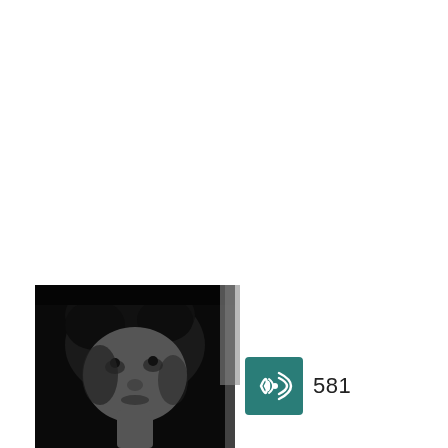[Figure (photo): Black and white photograph of a young person looking upward, shown in the bottom-left corner of the page. The image has a dark background with the subject's face partially visible.]
[Figure (other): Teal/dark cyan square icon with white wifi/broadcast signal waves symbol (concentric arcs), followed by the number 581 in dark text to its right.]